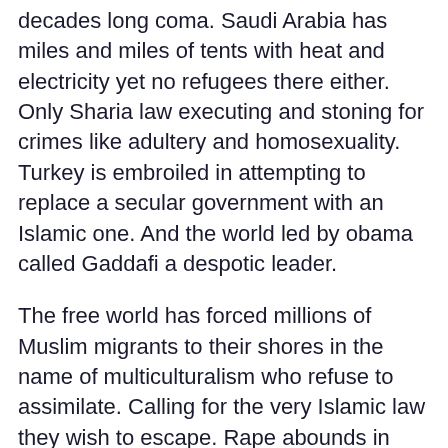decades long coma.  Saudi Arabia has miles and miles of tents with heat and electricity yet no refugees there either.  Only Sharia law executing and stoning for crimes like adultery and homosexuality.  Turkey is embroiled in attempting to replace a secular government with an Islamic one.  And the world led by obama called Gaddafi a despotic leader.
The free world has forced millions of Muslim migrants to their shores in the name of multiculturalism who refuse to assimilate.  Calling for the very Islamic law they wish to escape. Rape abounds in these cultures as do honor killings and terror attacks.  Just look at Germany and France!  Israel is in a fight for her life to defend freedom in a land mass the size if New Jersey surrounded by evil that wants to destroy them.  Iran is threatening to rain down missiles on Telaviv.  And the only